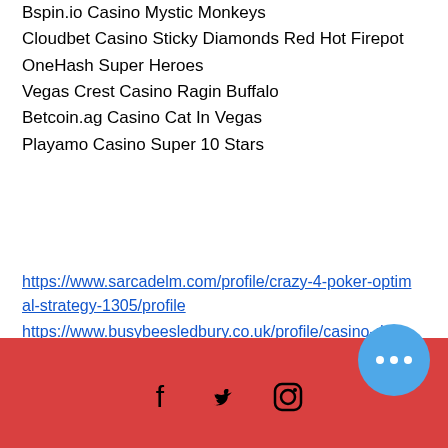Bspin.io Casino Mystic Monkeys
Cloudbet Casino Sticky Diamonds Red Hot Firepot
OneHash Super Heroes
Vegas Crest Casino Ragin Buffalo
Betcoin.ag Casino Cat In Vegas
Playamo Casino Super 10 Stars
https://www.sarcadelm.com/profile/crazy-4-poker-optimal-strategy-1305/profile
https://www.busybeesledbury.co.uk/profile/casino-dreams-palm-beach-punta-cana-1675/profile
https://www.palmasmileyearlychildhood.com/profile/ni-no-kuni-lucky-slot-machine-8825/profile
https://www.nerdtasticnews.com/profile/lucky-88-poker-machine-2437/profile
[Figure (other): Red footer bar with Facebook, Twitter, Instagram social media icons and a blue circle button with three dots]